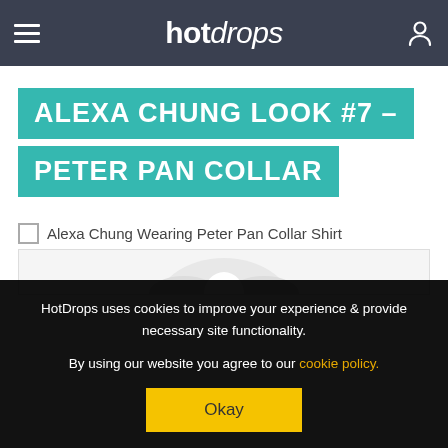hotdrops
ALEXA CHUNG LOOK #7 – PETER PAN COLLAR
Alexa Chung Wearing Peter Pan Collar Shirt
[Figure (photo): Partial photo of Alexa Chung wearing a Peter Pan collar shirt, cropped at the top]
HotDropps uses cookies to improve your experience & provide necessary site functionality.
By using our website you agree to our cookie policy.
Okay